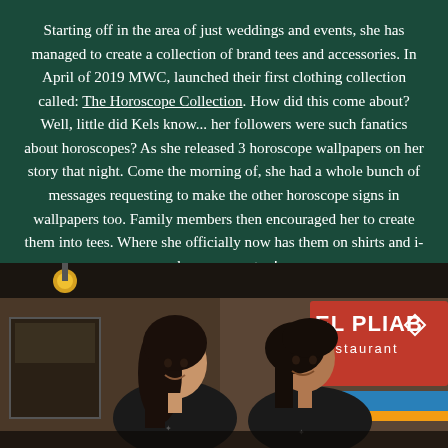Starting off in the area of just weddings and events, she has managed to create a collection of brand tees and accessories. In April of 2019 MWC, launched their first clothing collection called: The Horoscope Collection. How did this come about? Well, little did Kels know... her followers were such fanatics about horoscopes? As she released 3 horoscope wallpapers on her story that night. Come the morning of, she had a whole bunch of messages requesting to make the other horoscope signs in wallpapers too. Family members then encouraged her to create them into tees. Where she officially now has them on shirts and i-phone covers too!
[Figure (photo): Two young women wearing black t-shirts smiling at each other, standing in front of a restaurant with a sign reading 'El Pinar restaurant' in the background]